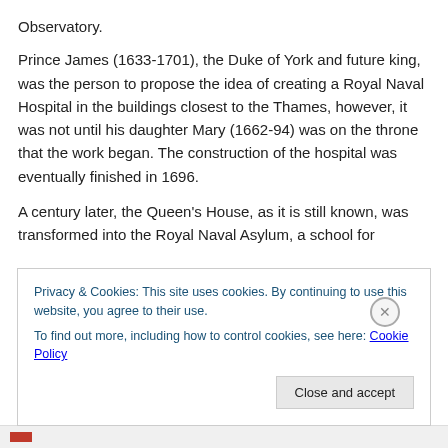Observatory.
Prince James (1633-1701), the Duke of York and future king, was the person to propose the idea of creating a Royal Naval Hospital in the buildings closest to the Thames, however, it was not until his daughter Mary (1662-94) was on the throne that the work began. The construction of the hospital was eventually finished in 1696.
A century later, the Queen’s House, as it is still known, was transformed into the Royal Naval Asylum, a school for
Privacy & Cookies: This site uses cookies. By continuing to use this website, you agree to their use.
To find out more, including how to control cookies, see here: Cookie Policy
Close and accept